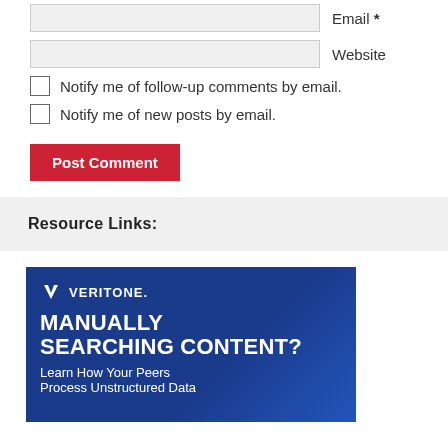Email *
Website
Notify me of follow-up comments by email.
Notify me of new posts by email.
Post Comment
Resource Links:
[Figure (illustration): Veritone advertisement banner with blue background. Veritone logo at top left. Text reads: MANUALLY SEARCHING CONTENT? Learn How Your Peers Process Unstructured Data]